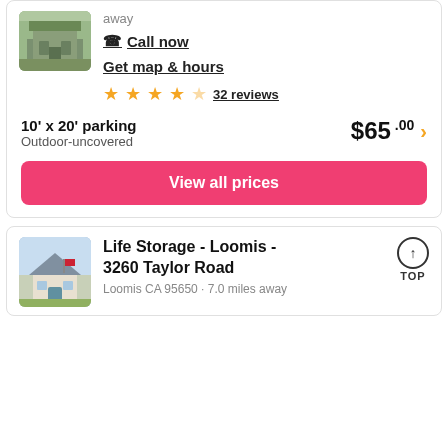[Figure (photo): Thumbnail photo of a storage facility building with greenery]
away
📞 Call now
Get map & hours
★★★★½ 32 reviews
10' x 20' parking
Outdoor-uncovered
$65.00 ›
View all prices
[Figure (photo): Thumbnail photo of Life Storage facility in Loomis]
Life Storage - Loomis - 3260 Taylor Road
Loomis CA 95650 · 7.0 miles away